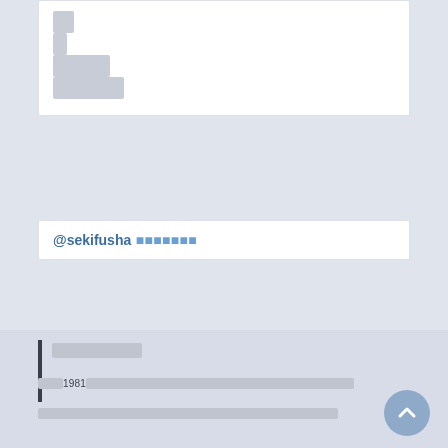[Japanese text lines in top card]
@sekifusha [Japanese text]
[Japanese section header]
[Japanese body text with 1981]
[Japanese body text continued]